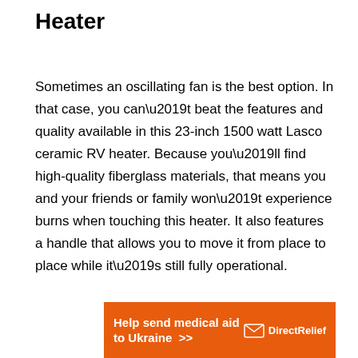Heater
Sometimes an oscillating fan is the best option. In that case, you can’t beat the features and quality available in this 23-inch 1500 watt Lasco ceramic RV heater. Because you’ll find high-quality fiberglass materials, that means you and your friends or family won’t experience burns when touching this heater. It also features a handle that allows you to move it from place to place while it’s still fully operational.
[Figure (other): Orange advertisement banner for Direct Relief reading 'Help send medical aid to Ukraine >>' with Direct Relief logo on the right]